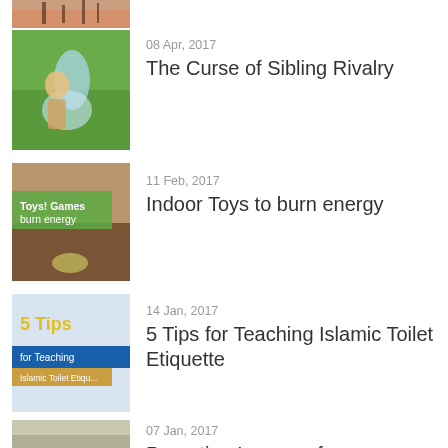[Figure (photo): Partial image of silhouettes at top of page, cropped]
[Figure (photo): Child playing with water outdoors]
08 Apr, 2017
The Curse of Sibling Rivalry
[Figure (photo): Indoor toys image with text overlay: Toys! Games burn energy]
11 Feb, 2017
Indoor Toys to burn energy
[Figure (photo): 5 Tips for Teaching Islamic Toilet Etiquette thumbnail with text overlay]
14 Jan, 2017
5 Tips for Teaching Islamic Toilet Etiquette
[Figure (photo): Landscape/sky photo, partially cropped at bottom]
07 Jan, 2017
Parenting Lessons from